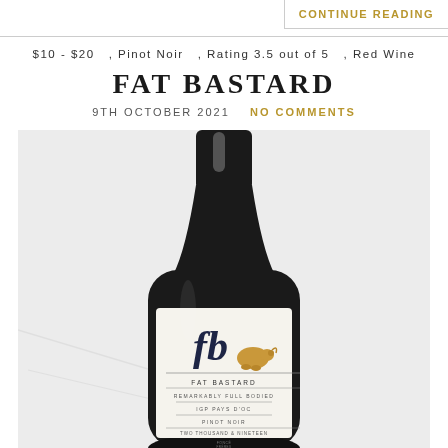CONTINUE READING
$10 - $20  , Pinot Noir  , Rating 3.5 out of 5  , Red Wine
FAT BASTARD
9TH OCTOBER 2021   NO COMMENTS
[Figure (photo): Wine bottle of Fat Bastard Pinot Noir 2019 IGP Pays d'Oc, showing the label with 'fb' logo and a gold pig, text reads FAT BASTARD, REMARKABLY FULL BODIED, IGP PAYS D'OC, PINOT NOIR, TWO THOUSAND & NINETEEN]